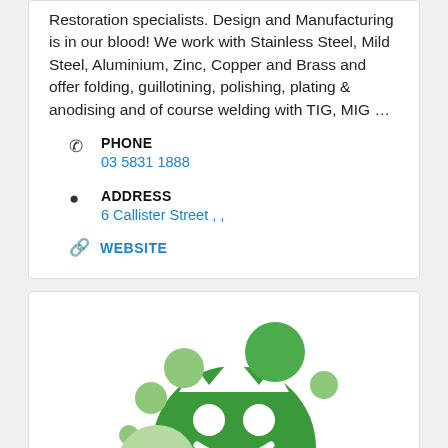Restoration specialists. Design and Manufacturing is in our blood! We work with Stainless Steel, Mild Steel, Aluminium, Zinc, Copper and Brass and offer folding, guillotining, polishing, plating & anodising and of course welding with TIG, MIG …
PHONE
03 5831 1888
ADDRESS
6 Callister Street , ,
WEBSITE
[Figure (logo): Green bubble logo with crown and stylized face/smile design made of circles]